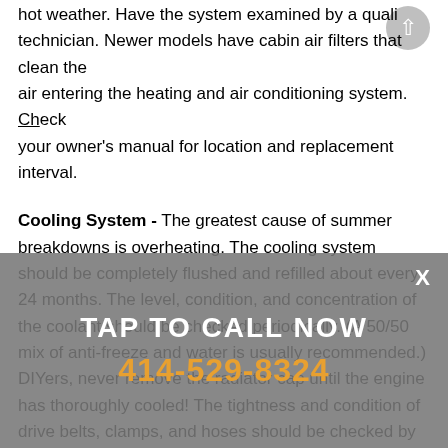hot weather. Have the system examined by a qualified technician. Newer models have cabin air filters that clean the air entering the heating and air conditioning system. Check your owner's manual for location and replacement interval.
Cooling System - The greatest cause of summer breakdowns is overheating. The cooling system should be completely flushed and refilled about every 24 months. The level, condition, and concentration of the coolant should be checked periodically. (A 50/50 mix of anti-freeze and water is usually recommended.) DIYers, never remove the radiator cap until the engine has thoroughly cooled! The tightness and condition of drive belts, clamps, and hoses should be checked by a pro.
[Figure (other): Grey overlay banner with white bold text 'TAP TO CALL NOW' and orange phone number '414-529-8324', with a white X close button in the top right corner]